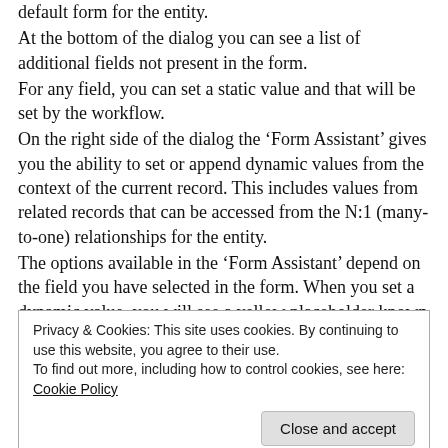default form for the entity.
At the bottom of the dialog you can see a list of additional fields not present in the form.
For any field, you can set a static value and that will be set by the workflow.
On the right side of the dialog the ‘Form Assistant’ gives you the ability to set or append dynamic values from the context of the current record. This includes values from related records that can be accessed from the N:1 (many-to-one) relationships for the entity.
The options available in the ‘Form Assistant’ depend on the field you have selected in the form. When you set a dynamic value, you will see a yellow placeholder known as a ‘slug’ that shows
Privacy & Cookies: This site uses cookies. By continuing to use this website, you agree to their use. To find out more, including how to control cookies, see here: Cookie Policy
a number of fields to try and set the value and sort them in order